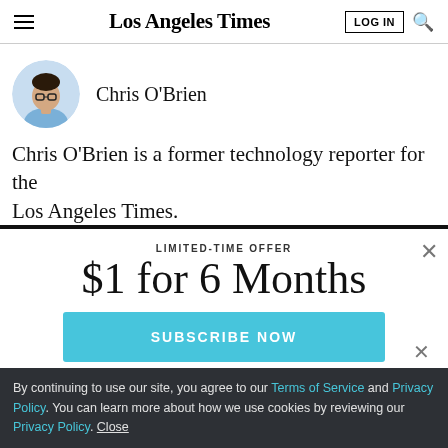Los Angeles Times
[Figure (photo): Circular headshot of Chris O'Brien, a man with glasses wearing a light blue shirt, against a light blue background]
Chris O'Brien
Chris O'Brien is a former technology reporter for the Los Angeles Times.
LIMITED-TIME OFFER
$1 for 6 Months
SUBSCRIBE NOW
By continuing to use our site, you agree to our Terms of Service and Privacy Policy. You can learn more about how we use cookies by reviewing our Privacy Policy. Close